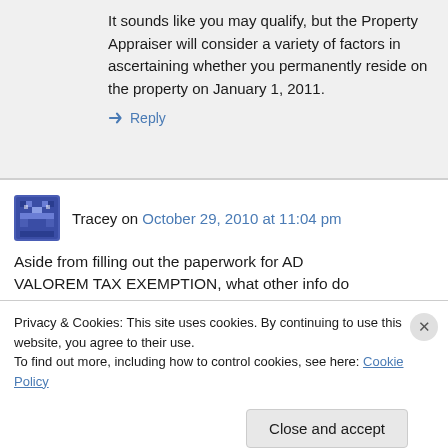It sounds like you may qualify, but the Property Appraiser will consider a variety of factors in ascertaining whether you permanently reside on the property on January 1, 2011.
↳ Reply
Tracey on October 29, 2010 at 11:04 pm
Aside from filling out the paperwork for AD VALOREM TAX EXEMPTION, what other info do
Privacy & Cookies: This site uses cookies. By continuing to use this website, you agree to their use.
To find out more, including how to control cookies, see here: Cookie Policy
Close and accept